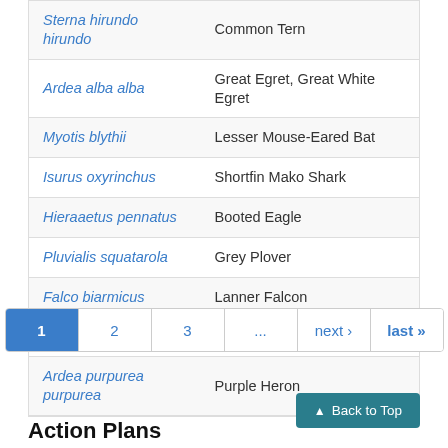| Scientific Name | Common Name |
| --- | --- |
| Sterna hirundo hirundo | Common Tern |
| Ardea alba alba | Great Egret, Great White Egret |
| Myotis blythii | Lesser Mouse-Eared Bat |
| Isurus oxyrinchus | Shortfin Mako Shark |
| Hieraaetus pennatus | Booted Eagle |
| Pluvialis squatarola | Grey Plover |
| Falco biarmicus | Lanner Falcon |
| Aquila nipalensis | Steppe Eagle |
| Ardea purpurea purpurea | Purple Heron |
Pagination: 1, 2, 3, …, next ›, last »
Back to Top
Action Plans